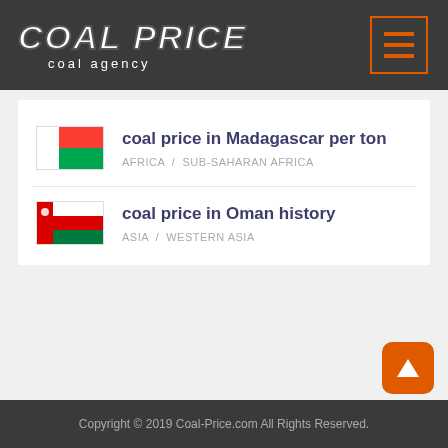COAL PRICE coal agency
coal price in Madagascar per ton
AFRICA / SUB-SAHARAN AFRICA
coal price in Oman history
ASIA / WESTERN ASIA
Copyright © 2019 Coal-Price.com All Rights Reserved.